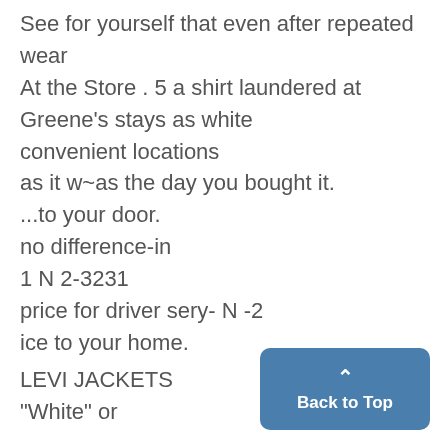See for yourself that even after repeated wear
At the Store . 5 a shirt laundered at Greene's stays as white
convenient locations
as it w~as the day you bought it.
...to your door.
no difference-in
1 N 2-3231
price for driver sery- N -2
ice to your home.
LEVI JACKETS
"White" or
Back to Top